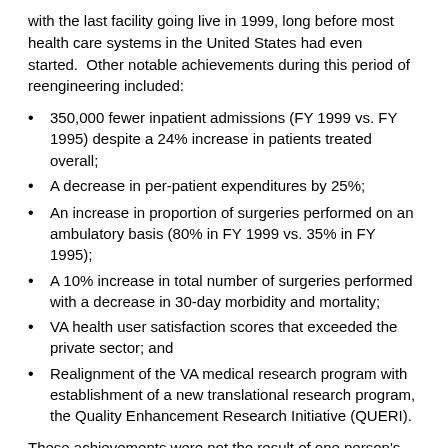with the last facility going live in 1999, long before most health care systems in the United States had even started. Other notable achievements during this period of reengineering included:
350,000 fewer inpatient admissions (FY 1999 vs. FY 1995) despite a 24% increase in patients treated overall;
A decrease in per-patient expenditures by 25%;
An increase in proportion of surgeries performed on an ambulatory basis (80% in FY 1999 vs. 35% in FY 1995);
A 10% increase in total number of surgeries performed with a decrease in 30-day morbidity and mortality;
VA health user satisfaction scores that exceeded the private sector; and
Realignment of the VA medical research program with establishment of a new translational research program, the Quality Enhancement Research Initiative (QUERI).
These achievements were not the result of one person's